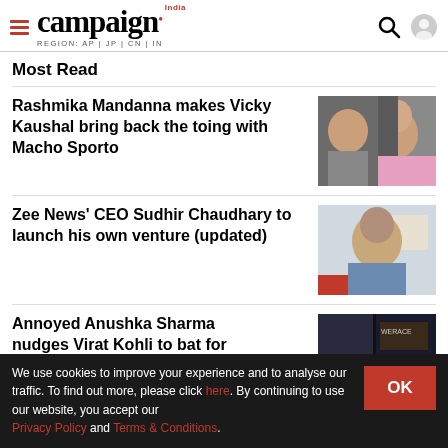campaign India — REGION: AP | JP | CN | IN
Most Read
Rashmika Mandanna makes Vicky Kaushal bring back the toing with Macho Sporto
[Figure (photo): Woman smiling in pink top, man raising arm in grey shirt]
Zee News' CEO Sudhir Chaudhary to launch his own venture (updated)
[Figure (photo): Man with grey hair smiling, wearing denim jacket]
Annoyed Anushka Sharma nudges Virat Kohli to bat for...
[Figure (photo): Dark interior scene with signage]
We use cookies to improve your experience and to analyse our traffic. To find out more, please click here. By continuing to use our website, you accept our Privacy Policy and Terms & Conditions.